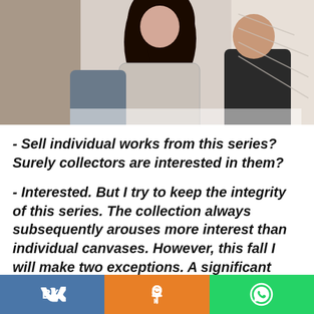[Figure (photo): Photo of two people standing together, partially cropped, one appears to be a woman with long dark hair wearing a light sweater, the other in dark clothing]
- Sell individual works from this series? Surely collectors are interested in them?
- Interested. But I try to keep the integrity of this series. The collection always subsequently arouses more interest than individual canvases. However, this fall I will make two exceptions. A significant event for our people is being prepared under the auspices of the STMEGI International Charitable Foundation for Mountain Jews, with which we support each other. As part of a charity auction,
VK | OK | WhatsApp social share bar